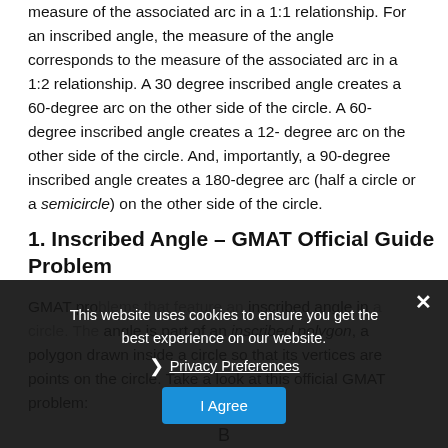measure of the associated arc in a 1:1 relationship. For an inscribed angle, the measure of the angle corresponds to the measure of the associated arc in a 1:2 relationship. A 30 degree inscribed angle creates a 60-degree arc on the other side of the circle. A 60-degree inscribed angle creates a 12- degree arc on the other side of the circle. And, importantly, a 90-degree inscribed angle creates a 180-degree arc (half a circle or a semicircle) on the other side of the circle.
1. Inscribed Angle – GMAT Official Guide Problem
GMAT problems that feature an inscribed angle in a circle. The angle is part of an inscribed polygon, a polygon drawn inside a circle so that its vertices are points on the circle. Take a look at this official GMAT problem:
This website uses cookies to ensure you get the best experience on our website.
Privacy Preferences
I Agree
B